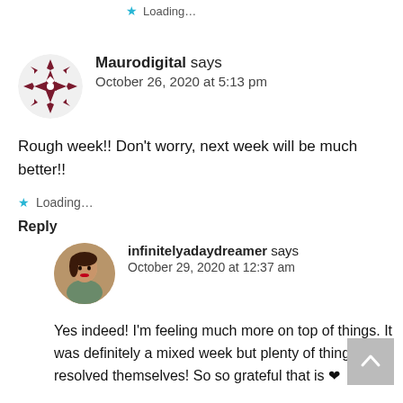Loading...
[Figure (illustration): Avatar for Maurodigital: dark red/maroon geometric snowflake/quilt pattern circle icon]
Maurodigital says
October 26, 2020 at 5:13 pm
Rough week!! Don't worry, next week will be much better!!
Loading...
Reply
[Figure (photo): Avatar for infinitelyadaydreamer: photo of a person with red lipstick outdoors]
infinitelyadaydreamer says
October 29, 2020 at 12:37 am
Yes indeed! I'm feeling much more on top of things. It was definitely a mixed week but plenty of things have resolved themselves! So so grateful that is ❤